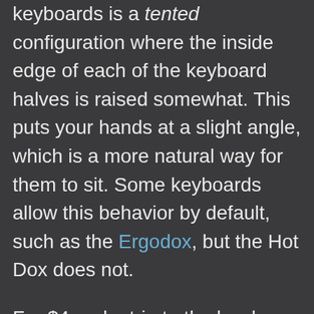keyboards is a tented configuration where the inside edge of each of the keyboard halves is raised somewhat. This puts your hands at a slight angle, which is a more natural way for them to sit. Some keyboards allow this behavior by default, such as the Ergodox, but the Hot Dox does not.
For $4 and a trip to the hardware store, however, I was able to easily achieve some slight tenting to my keyboard. I got a set of 3mm x 16mm button head screw with a 2mm drive and a 3mm - 0.5 hex nut for each of the screws by default them